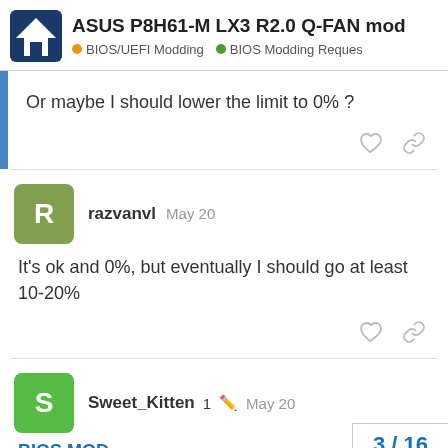ASUS P8H61-M LX3 R2.0 Q-FAN mod | BIOS/UEFI Modding | BIOS Modding Reques
Or maybe I should lower the limit to 0% ?
razvanvl  May 20
It's ok and 0%, but eventually I should go at least 10-20%
Sweet_Kitten  1  May 20
BIOS MOD
3 / 16